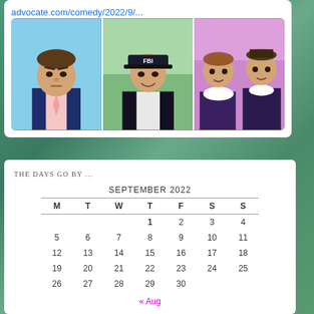advocate.com/comedy/2022/9/...
[Figure (photo): Three panel image: left panel shows a man in a navy suit with pink tie against blue sky background; center panel shows a man dressed as an FBI agent with FBI cap and black vest; right panel shows two people in theatrical costumes with ruffled clothing.]
THE DAYS GO BY ...
| M | T | W | T | F | S | S |
| --- | --- | --- | --- | --- | --- | --- |
|  |  |  | 1 | 2 | 3 | 4 |
| 5 | 6 | 7 | 8 | 9 | 10 | 11 |
| 12 | 13 | 14 | 15 | 16 | 17 | 18 |
| 19 | 20 | 21 | 22 | 23 | 24 | 25 |
| 26 | 27 | 28 | 29 | 30 |  |  |
« Aug